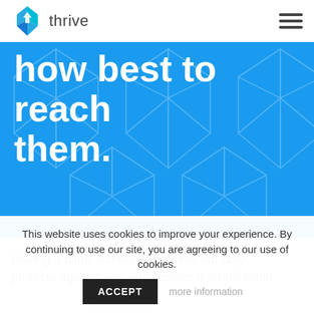[Figure (logo): Thrive logo: blue diamond/arrow shape icon with 'thrive' text in grey]
[Figure (illustration): Blue hero banner with large white bold text 'how best to reach them.' overlaid on a geometric pattern of outlined diamond/arrow shapes in a lighter blue]
Having a blind screening process not only protects against age and gender discrimination
This website uses cookies to improve your experience. By continuing to use our site, you are agreeing to our use of cookies.
ACCEPT
more information